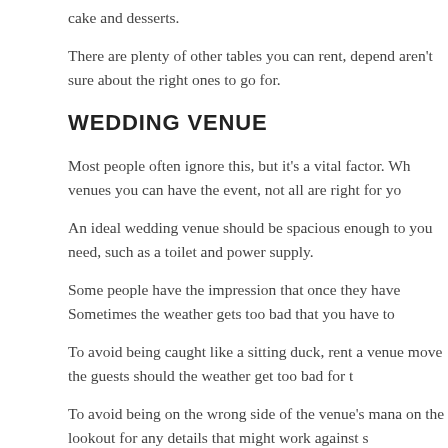cake and desserts.
There are plenty of other tables you can rent, depend aren't sure about the right ones to go for.
WEDDING VENUE
Most people often ignore this, but it's a vital factor. Wh venues you can have the event, not all are right for yo
An ideal wedding venue should be spacious enough to you need, such as a toilet and power supply.
Some people have the impression that once they have Sometimes the weather gets too bad that you have to
To avoid being caught like a sitting duck, rent a venue move the guests should the weather get too bad for t
To avoid being on the wrong side of the venue's mana on the lookout for any details that might work against s